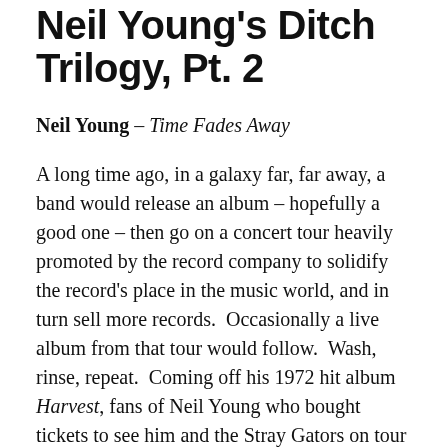Neil Young's Ditch Trilogy, Pt. 2
Neil Young – Time Fades Away
A long time ago, in a galaxy far, far away, a band would release an album – hopefully a good one – then go on a concert tour heavily promoted by the record company to solidify the record's place in the music world, and in turn sell more records.  Occasionally a live album from that tour would follow.  Wash, rinse, repeat.  Coming off his 1972 hit album Harvest, fans of Neil Young who bought tickets to see him and the Stray Gators on tour in early '73 expected a show which featured that album and delivering it. Performances of all songs of